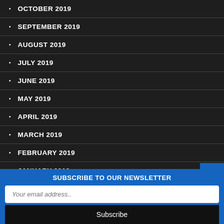OCTOBER 2019
SEPTEMBER 2019
AUGUST 2019
JULY 2019
JUNE 2019
MAY 2019
APRIL 2019
MARCH 2019
FEBRUARY 2019
JANUARY 2019
SUBSCRIBE TO OUR NEWSLETTER
Your email address..
Subscribe